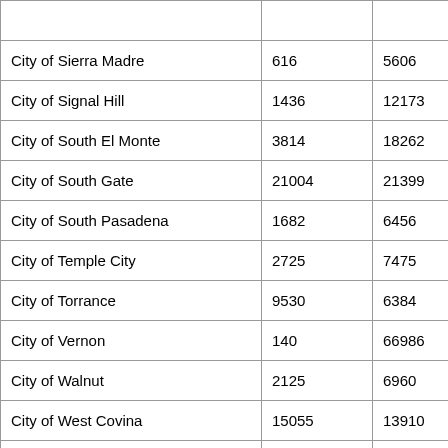| City of Sierra Madre | 616 | 5606 |
| City of Signal Hill | 1436 | 12173 |
| City of South El Monte | 3814 | 18262 |
| City of South Gate | 21004 | 21399 |
| City of South Pasadena | 1682 | 6456 |
| City of Temple City | 2725 | 7475 |
| City of Torrance | 9530 | 6384 |
| City of Vernon | 140 | 66986 |
| City of Walnut | 2125 | 6960 |
| City of West Covina | 15055 | 13910 |
| City of West Hollywood | 3573 | 9670 |